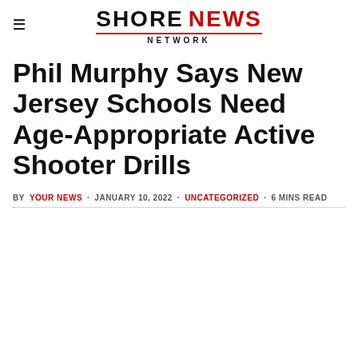SHORE NEWS NETWORK
Phil Murphy Says New Jersey Schools Need Age-Appropriate Active Shooter Drills
BY YOUR NEWS · JANUARY 10, 2022 · UNCATEGORIZED · 6 MINS READ